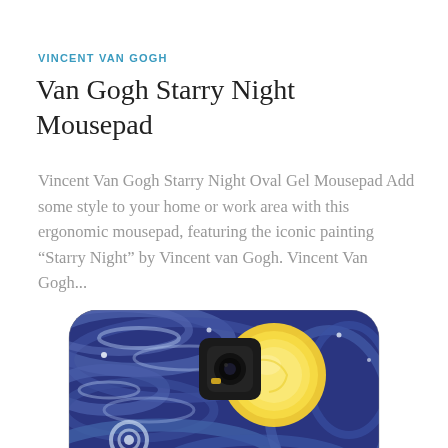VINCENT VAN GOGH
Van Gogh Starry Night Mousepad
Vincent Van Gogh Starry Night Oval Gel Mousepad Add some style to your home or work area with this ergonomic mousepad, featuring the iconic painting “Starry Night” by Vincent van Gogh. Vincent Van Gogh...
[Figure (photo): A phone case featuring Van Gogh's Starry Night painting, showing swirling blue patterns and a large yellow circular moon/star, with a camera cutout visible on the device.]